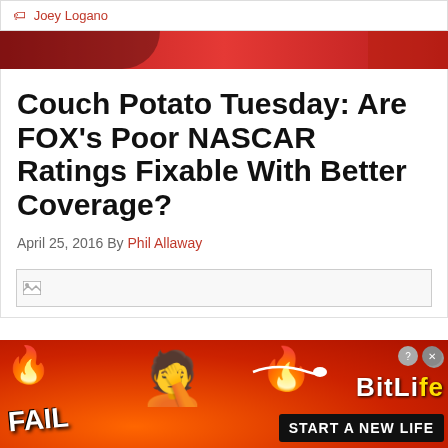Joey Logano
Couch Potato Tuesday: Are FOX's Poor NASCAR Ratings Fixable With Better Coverage?
April 25, 2016 By Phil Allaway
[Figure (other): Broken image placeholder for article featured image]
[Figure (other): BitLife advertisement banner - FAIL emoji, facepalm emoji, fire emoji, BitLife logo, START A NEW LIFE text on red/orange background]